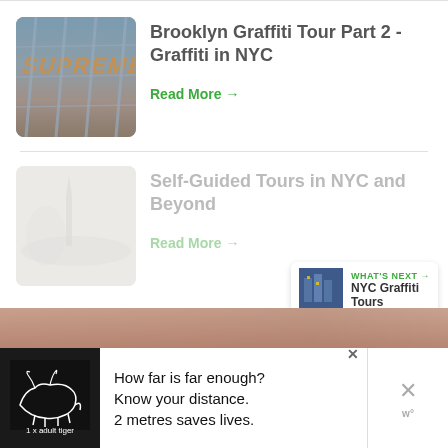[Figure (photo): Photo of Brooklyn graffiti through a chain-link fence showing colorful graffiti art on a building]
Brooklyn Graffiti Tour Part 2 - Graffiti in NYC
Read More →
[Figure (photo): Faded/washed out photo of an outdoor tour scene]
Self-Guided Tours in NYC and Beyond
Read More →
Around The Web
WHAT'S NEXT → NYC Graffiti Tours
[Figure (photo): Advertisement banner with tiger illustration: How far is far enough? Know your distance. 2 metres saves lives. 1 x adult tiger]